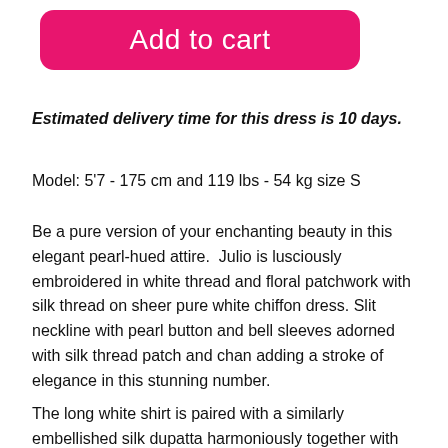[Figure (screenshot): Pink 'Add to cart' button with rounded corners on white background]
Estimated delivery time for this dress is 10 days.
Model: 5'7 - 175 cm and 119 lbs - 54 kg size S
Be a pure version of your enchanting beauty in this elegant pearl-hued attire.  Julio is lusciously embroidered in white thread and floral patchwork with silk thread on sheer pure white chiffon dress. Slit neckline with pearl button and bell sleeves adorned with silk thread patch and chan adding a stroke of elegance in this stunning number.
The long white shirt is paired with a similarly embellished silk dupatta harmoniously together with